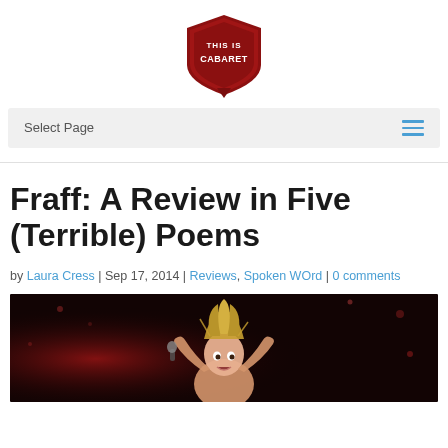[Figure (logo): This Is Cabaret logo - dark red/maroon shield shape with text 'THIS IS CABARET' and a pointed diamond base]
[Figure (screenshot): Navigation bar with 'Select Page' text on grey background and blue hamburger menu icon on the right]
Fraff: A Review in Five (Terrible) Poems
by Laura Cress | Sep 17, 2014 | Reviews, Spoken WOrd | 0 comments
[Figure (photo): Performer on stage wearing a gold/straw headdress, holding a microphone, with hands raised expressively, against a dark sparkly background with red stage lighting]